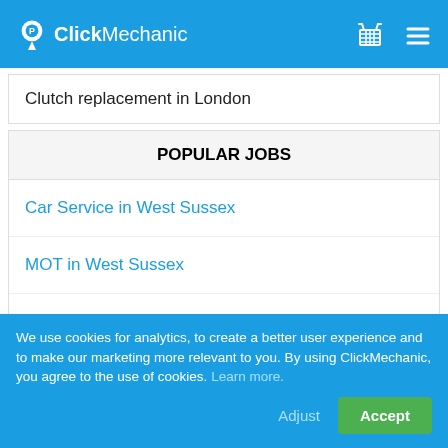ClickMechanic
Clutch replacement in London
POPULAR JOBS
Car Service in West Sussex
MOT in West Sussex
Clutch Fluid change in West Sussex
Clutch Master Cylinder replacement in West Sussex
We use cookies for analytics, to create a better user experience and to make our marketing more relevant to you. By using ClickMechanic, you agree to the use of cookies. Learn more.